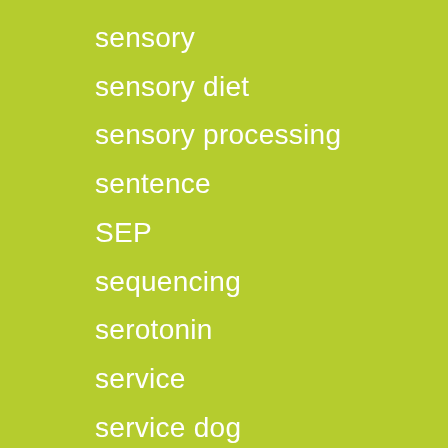sensory
sensory diet
sensory processing
sentence
SEP
sequencing
serotonin
service
service dog